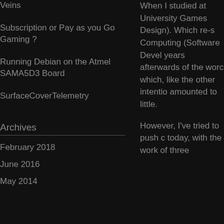Veins
Subscription or Pay as you Go Gaming ?
Running Debian on the Atmel SAMA5D3 Board
SurfaceCoverTelemetry
Archives
February 2018
June 2016
May 2014
When I studied at University Games Design). Which re-s Computing (Software Devel years afterwards of the worc which, like the other intentio amounted to little.
However, I've tried to push c today, with the work of three